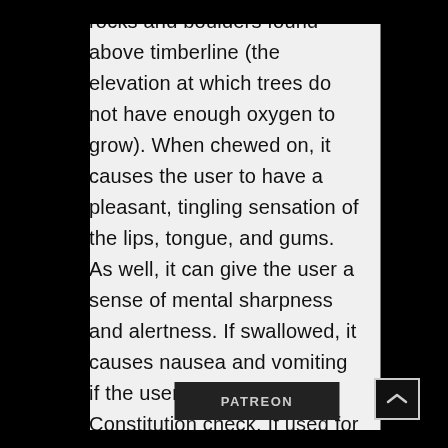rocks and boulders found above timberline (the elevation at which trees do not have enough oxygen to grow). When chewed on, it causes the user to have a pleasant, tingling sensation of the lips, tongue, and gums. As well, it can give the user a sense of mental sharpness and alertness. If swallowed, it causes nausea and vomiting if the user fails a DC 13 Constitution check. If used for 1d6 hours continuously, the user must make a DC 15 Constitution check. If failed, they experience nausea, but if passed they gain advantage on Perception checks for the next 1d4 hours. Not inherently